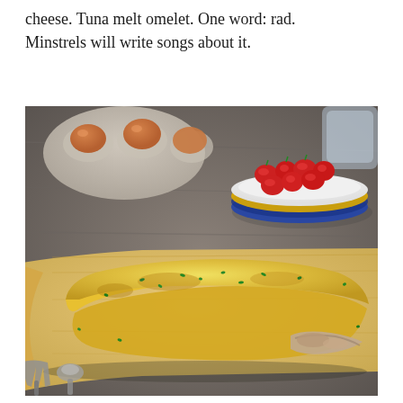cheese. Tuna melt omelet. One word: rad. Minstrels will write songs about it.
[Figure (photo): A golden tuna melt omelet garnished with chopped herbs, served on a wooden cutting board. In the background: a carton of brown eggs on the left and a white plate with cherry tomatoes on the right, all on a gray wooden surface. Silverware visible in the lower left corner.]